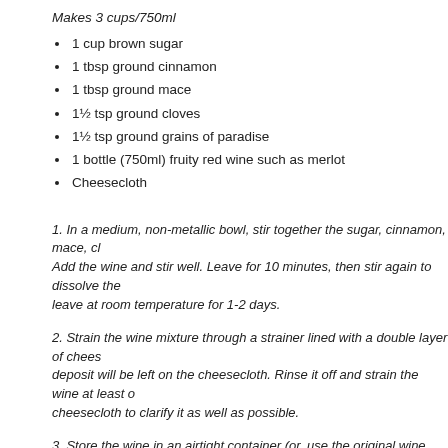Makes 3 cups/750ml
1 cup brown sugar
1 tbsp ground cinnamon
1 tbsp ground mace
1½ tsp ground cloves
1½ tsp ground grains of paradise
1 bottle (750ml) fruity red wine such as merlot
Cheesecloth
1. In a medium, non-metallic bowl, stir together the sugar, cinnamon, mace, cl… Add the wine and stir well. Leave for 10 minutes, then stir again to dissolve the… leave at room temperature for 1-2 days.
2. Strain the wine mixture through a strainer lined with a double layer of chees… deposit will be left on the cheesecloth. Rinse it off and strain the wine at least … cheesecloth to clarify it as well as possible.
3. Store the wine in an airtight container (or, use the original wine bottle) at ro… to one month.